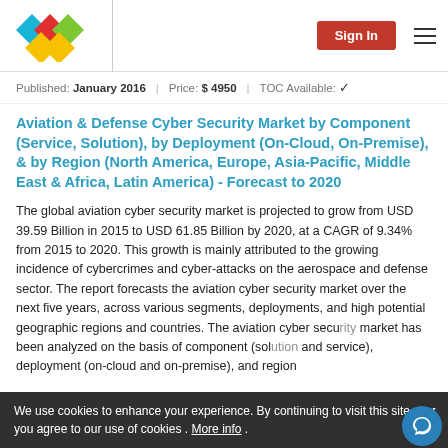Sign In
Published: January 2016 | Price: $ 4950 | TOC Available: ✓
Aviation & Defense Cyber Security Market by Component (Service, Solution), by Deployment (On-Cloud, On-Premise), & by Region (North America, Europe, Asia-Pacific, Middle East & Africa, Latin America) - Forecast to 2020
The global aviation cyber security market is projected to grow from USD 39.59 Billion in 2015 to USD 61.85 Billion by 2020, at a CAGR of 9.34% from 2015 to 2020. This growth is mainly attributed to the growing incidence of cybercrimes and cyber-attacks on the aerospace and defense sector. The report forecasts the aviation cyber security market over the next five years, across various segments, deployments, and high potential geographic regions and countries. The aviation cyber security market has been analyzed on the basis of component (solution and service), deployment (on-cloud and on-premise), and region
We use cookies to enhance your experience. By continuing to visit this site you agree to our use of cookies . More info .